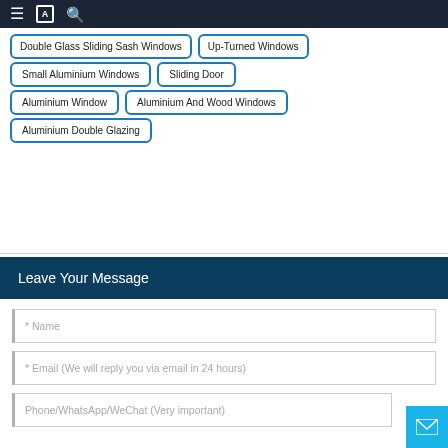Navigation bar with menu, translate, and search icons
Double Glass Sliding Sash Windows
Up-Turned Windows
Small Aluminium Windows
Sliding Door
Aluminium Window
Aluminium And Wood Windows
Aluminium Double Glazing
Leave Your Message
* Name
* Email (We will reply you via email in 24 hours)
Phone/WhatsApp/WeChat (Very important)